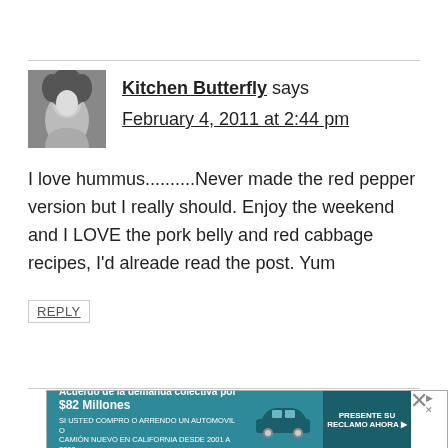[Figure (photo): Avatar photo of Kitchen Butterfly commenter — black and white portrait of a person with voluminous curly hair]
Kitchen Butterfly says
February 4, 2011 at 2:44 pm
I love hummus..........Never made the red pepper version but I really should. Enjoy the weekend and I LOVE the pork belly and red cabbage recipes, I’d alreade read the post. Yum
REPLY
[Figure (screenshot): Advertisement banner: Acuerdo de la demanda colectiva por $82 Millones — SI USTED COMPRO O ARRENDO UN AUTOMOVIL O CAMION NUEVO EN CALIFORNIA DESDE 2001 A 2003, with car image and PRESENTE SU RECLAMO AHORA button]